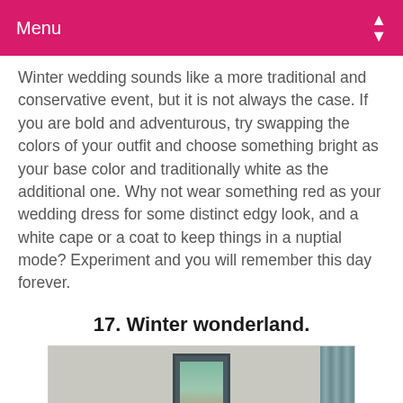Menu
Winter wedding sounds like a more traditional and conservative event, but it is not always the case. If you are bold and adventurous, try swapping the colors of your outfit and choose something bright as your base color and traditionally white as the additional one. Why not wear something red as your wedding dress for some distinct edgy look, and a white cape or a coat to keep things in a nuptial mode? Experiment and you will remember this day forever.
17. Winter wonderland.
[Figure (photo): Interior room photo showing a framed painting of a woman on a light-colored wall, with teal/blue curtains on the right side and a plant on the left side.]